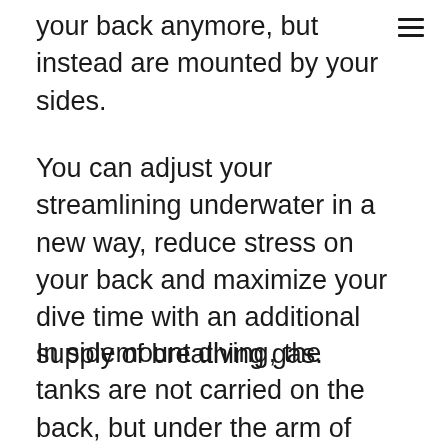your back anymore, but instead are mounted by your sides.
You can adjust your streamlining underwater in a new way, reduce stress on your back and maximize your dive time with an additional supply of breathing gas.
In sidemount diving, the tanks are not carried on the back, but under the arm of the diver. This configuration is very